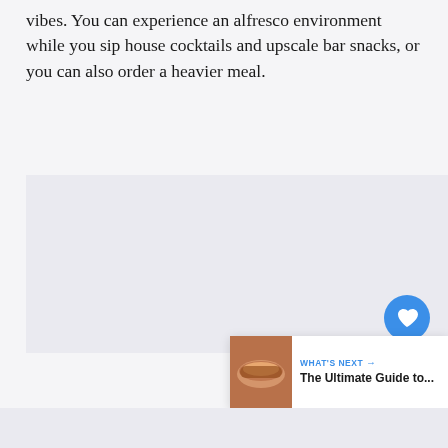vibes. You can experience an alfresco environment while you sip house cocktails and upscale bar snacks, or you can also order a heavier meal.
[Figure (photo): Large image placeholder area with light gray/blue background occupying the middle section of the page]
[Figure (other): Blue circular heart/favorite FAB button]
[Figure (other): White circular share FAB button with share icon]
[Figure (other): What's Next card showing thumbnail of food and text 'The Ultimate Guide to...']